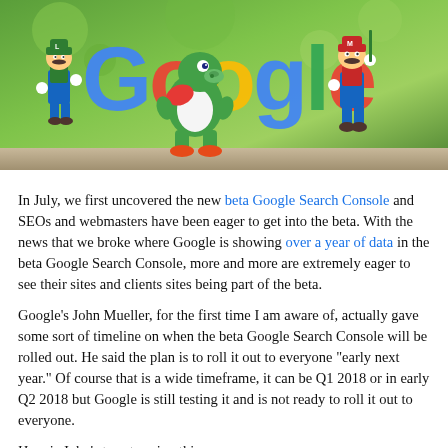[Figure (photo): Photo of Nintendo Mario figurines (Luigi, Yoshi, Mario) posed in front of the colorful Google logo text, set against a blurred outdoor background with ground/pavement visible.]
In July, we first uncovered the new beta Google Search Console and SEOs and webmasters have been eager to get into the beta. With the news that we broke where Google is showing over a year of data in the beta Google Search Console, more and more are extremely eager to see their sites and clients sites being part of the beta.
Google's John Mueller, for the first time I am aware of, actually gave some sort of timeline on when the beta Google Search Console will be rolled out. He said the plan is to roll it out to everyone "early next year." Of course that is a wide timeframe, it can be Q1 2018 or in early Q2 2018 but Google is still testing it and is not ready to roll it out to everyone.
Here is John's tweet saying this: